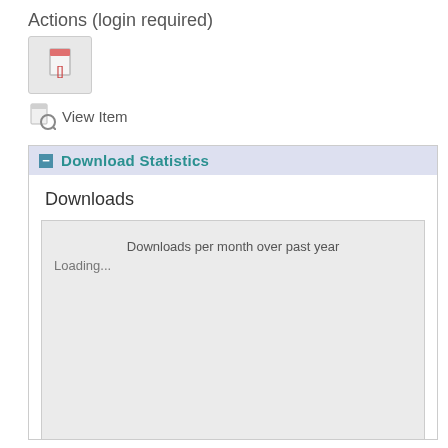Actions (login required)
[Figure (screenshot): A small icon box with a red bracket/document icon inside a grey rounded rectangle]
View Item
Download Statistics
Downloads
[Figure (other): Downloads per month over past year — Loading... (grey placeholder box with loading text)]